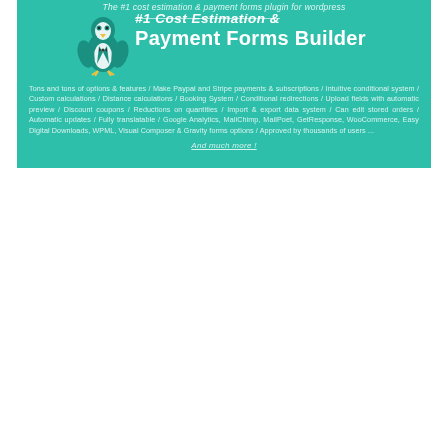[Figure (illustration): Teal/green banner for '#1 Cost Estimation & Payment Forms Builder' WordPress plugin. Features a tuxedo bird logo on the left, bold white title text, a subtitle, and descriptive feature text listing plugin capabilities.]
Payment Forms Builder
The #1 cost estimation & payment forms plugin for wordpress
Tons and tons of options & features / Make Paypal and Stripe payments & subscriptions / Intuitive conditional system / Custom calculations / Distance calculations / Booking System / Conditional redirections / Upload fields with automatic preview / Discount coupons / Reductions on quantities / Import & export data system / Can edit stored orders / Automatic updates / Fully translatable / Google Analytics, MailChimp, MailPoet, GetResponse, WooCommerce, Easy Digital Downloads, WPML, Visual Composer & Gravity forms options / Approved by thousands of users ...
And much more !